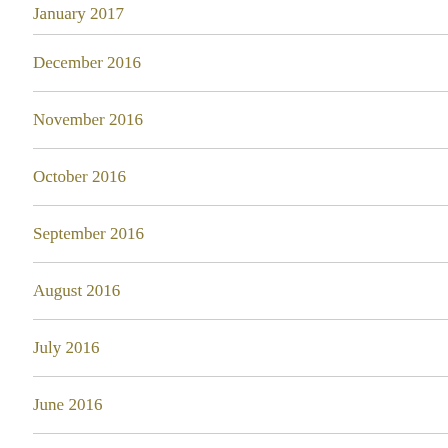January 2017
December 2016
November 2016
October 2016
September 2016
August 2016
July 2016
June 2016
May 2016